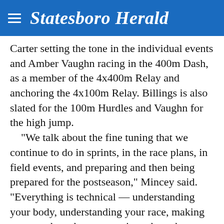Statesboro Herald
Carter setting the tone in the individual events and Amber Vaughn racing in the 400m Dash, as a member of the 4x400m Relay and anchoring the 4x100m Relay. Billings is also slated for the 100m Hurdles and Vaughn for the high jump.
“We talk about the fine tuning that we continue to do in sprints, in the race plans, in field events, and preparing and then being prepared for the postseason,” Mincey said. “Everything is technical — understanding your body, understanding your race, making sure you have been executing what what you have been practicing, and being mentally focused, and then fine-tuning all those aspects. This weekend is the culmination of all that preparation.”
 Trials for all the sprint events will be held this afternoon with the finals contested Sunday.